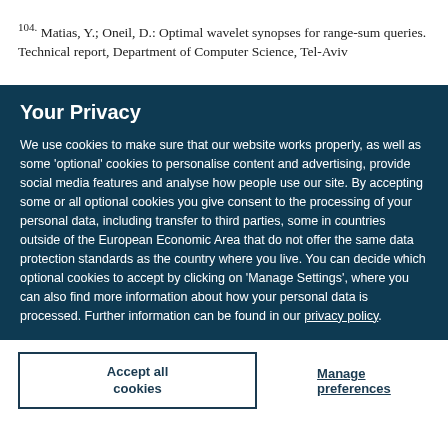104. Matias, Y.; Oneil, D.: Optimal wavelet synopses for range-sum queries. Technical report, Department of Computer Science, Tel-Aviv
Your Privacy
We use cookies to make sure that our website works properly, as well as some 'optional' cookies to personalise content and advertising, provide social media features and analyse how people use our site. By accepting some or all optional cookies you give consent to the processing of your personal data, including transfer to third parties, some in countries outside of the European Economic Area that do not offer the same data protection standards as the country where you live. You can decide which optional cookies to accept by clicking on 'Manage Settings', where you can also find more information about how your personal data is processed. Further information can be found in our privacy policy.
Accept all cookies
Manage preferences